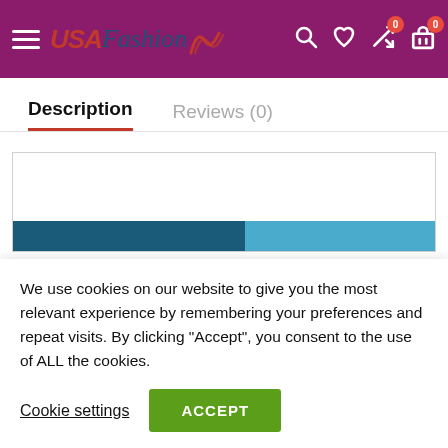[Figure (screenshot): USA Fashion website header with purple background, hamburger menu, logo, and navigation icons (search, heart, shuffle with badge 0, shopping cart with badge 0)]
Description
Reviews (0)
[Figure (bar-chart): Two-color horizontal stacked bar: dark teal segment (~55%) and light blue segment (~45%)]
We use cookies on our website to give you the most relevant experience by remembering your preferences and repeat visits. By clicking “Accept”, you consent to the use of ALL the cookies.
Cookie settings
ACCEPT